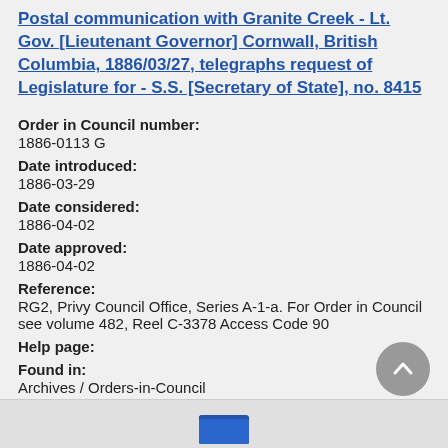Postal communication with Granite Creek - Lt. Gov. [Lieutenant Governor] Cornwall, British Columbia, 1886/03/27, telegraphs request of Legislature for - S.S. [Secretary of State], no. 8415
Order in Council number:
1886-0113 G
Date introduced:
1886-03-29
Date considered:
1886-04-02
Date approved:
1886-04-02
Reference:
RG2, Privy Council Office, Series A-1-a. For Order in Council see volume 482, Reel C-3378 Access Code 90
Help page:
Found in:
Archives / Orders-in-Council